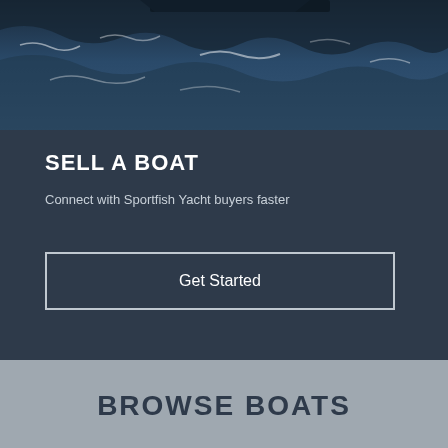[Figure (photo): Aerial/top-down view of ocean waves with dark blue water and whitecaps, partially showing a boat at the top edge]
SELL A BOAT
Connect with Sportfish Yacht buyers faster
Get Started
BROWSE BOATS